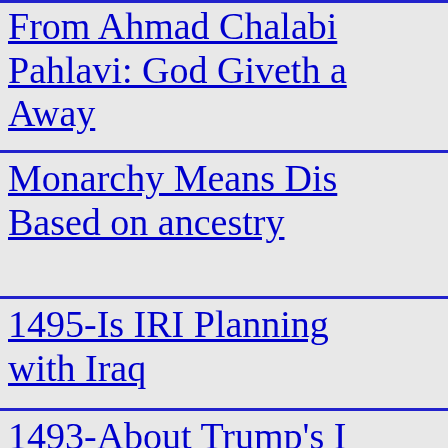From Ahmad Chalabi Pahlavi: God Giveth a Away
Monarchy Means Dis Based on ancestry
1495-Is IRI Planning with Iraq
1493-About Trump's